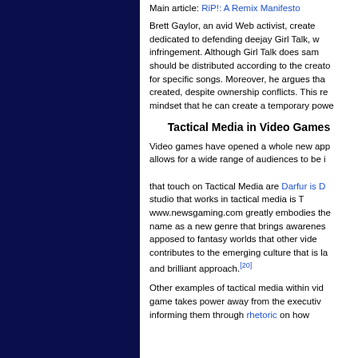Main article: RiP!: A Remix Manifesto
Brett Gaylor, an avid Web activist, created dedicated to defending deejay Girl Talk, infringement. Although Girl Talk does samp should be distributed according to the creato for specific songs. Moreover, he argues tha created, despite ownership conflicts. This re mindset that he can create a temporary powe
Tactical Media in Video Games
Video games have opened a whole new app allows for a wide range of audiences to be i that touch on Tactical Media are Darfur is D studio that works in tactical media is T www.newsgaming.com greatly embodies the name as a new genre that brings awarenes apposed to fantasy worlds that other vide contributes to the emerging culture that is la and brilliant approach.[20]
Other examples of tactical media within vi game takes power away from the executi informing them through rhetoric on how